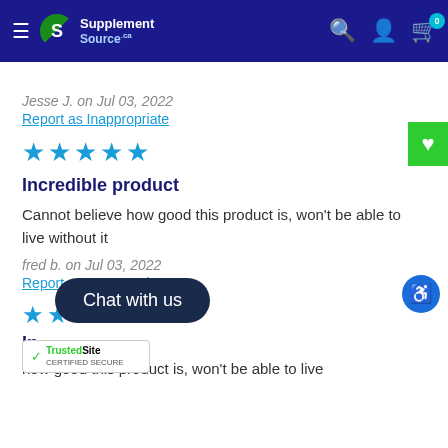[Figure (screenshot): Supplement Source website navigation bar with hamburger menu, logo, search icon, account icon, and cart icon with badge showing 0]
Jesse J. on Jul 03, 2022
Report as Inappropriate
[Figure (other): 5 blue star rating icons]
Incredible product
Cannot believe how good this product is, won't be able to live without it
fred b. on Jul 03, 2022
Report as Inappropriate
[Figure (other): Partial star rating row at bottom]
In
Chat with us
[Figure (logo): TrustedSite CERTIFIED SECURE badge]
how good this product is, won't be able to live